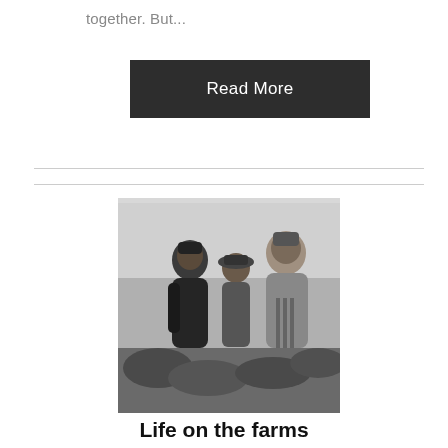together. But...
Read More
[Figure (photo): Black and white photograph of three people standing in a farm field, wearing coats and hats, looking upward.]
Life on the farms